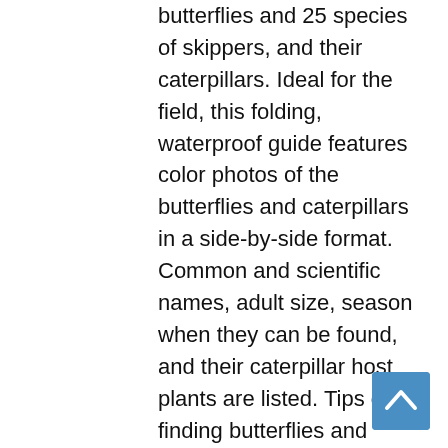Beautifully illustrated are 39 species of true butterflies and 25 species of skippers, and their caterpillars. Ideal for the field, this folding, waterproof guide features color photos of the butterflies and caterpillars in a side-by-side format. Common and scientific names, adult size, season when they can be found, and their caterpillar host plants are listed. Tips on finding butterflies and caterpillars are given and the life cycle of the Gulf Fritillary is illustrated.
Featured are familiar butterflies such as the Eastern Tiger Swallowtail, Orange Sulphur, Red Admiral, Mourning Cloak, Monarch, Silver-spotted Skipper and less well-known species such as the Falcate Orangetip,
[Figure (other): Back to top button - blue square button with white upward chevron arrow]